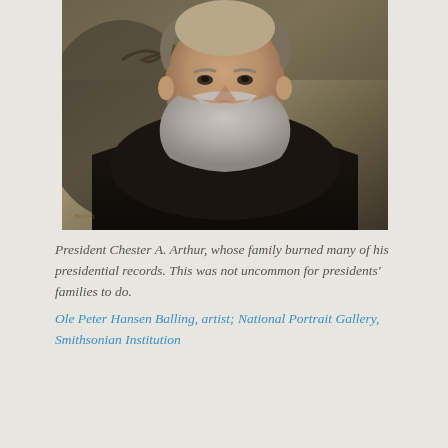[Figure (photo): Oil portrait painting of President Chester A. Arthur, showing a bearded man with grey beard and mustache wearing a dark suit and cravat, painted by Ole Peter Hansen Balling.]
President Chester A. Arthur, whose family burned many of his presidential records. This was not uncommon for presidents' families to do.
Ole Peter Hansen Balling, artist; National Portrait Gallery, Smithsonian Institution